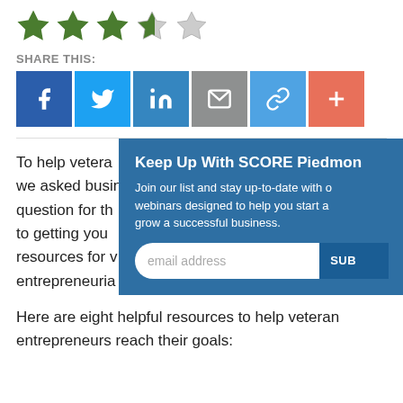[Figure (other): Star rating showing 3.5 out of 5 stars (4 filled green stars with the 4th partially filled, 1 empty grey star)]
SHARE THIS:
[Figure (infographic): Social share buttons: Facebook (dark blue), Twitter (light blue), LinkedIn (blue), Email (grey), Link (blue), Plus/More (orange-red)]
To help veterans starting businesses, we asked business owners one question for their best advice to getting your business started. resources for veterans entrepreneurial...
Keep Up With SCORE Piedmont
Join our list and stay up-to-date with our webinars designed to help you start and grow a successful business.
Here are eight helpful resources to help veteran entrepreneurs reach their goals: